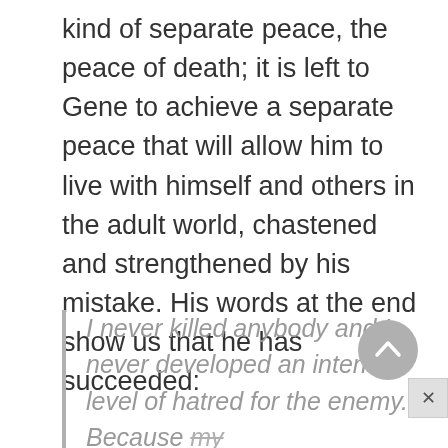kind of separate peace, the peace of death; it is left to Gene to achieve a separate peace that will allow him to live with himself and others in the adult world, chastened and strengthened by his mistake. His words at the end show us that he has succeeded:
I never killed anybody and I never developed an intense level of hatred for the enemy. Because my war ended before I ever put on a uniform; I was on active duty all